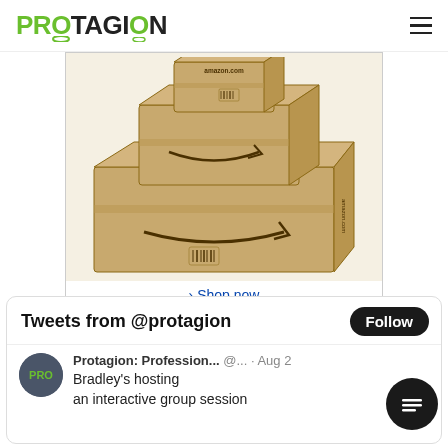PROTAGION (logo) — hamburger menu
[Figure (photo): Stack of Amazon shipping boxes (cardboard, brown) with Amazon smile logo. Below the image: '› Shop now' link and 'Privacy information' text.]
Tweets from @protagion
Follow
[Figure (logo): Protagion PRO logo avatar (dark circle with PRO text in green)]
Protagion: Profession... @... · Aug 2
Bradley's hosting an interactive group session